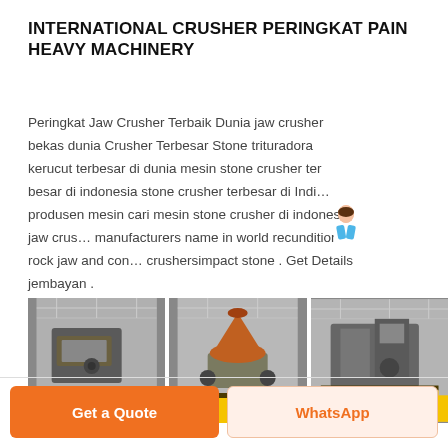INTERNATIONAL CRUSHER PERINGKAT PAIN HEAVY MACHINERY
Peringkat Jaw Crusher Terbaik Dunia jaw crusher bekas dunia Crusher Terbesar Stone trituradora kerucut terbesar di dunia mesin stone crusher ter besar di indonesia stone crusher terbesar di India produsen mesin cari mesin stone crusher di indonesia jaw crusher manufacturers name in world recunditioned rock jaw and cone crushersimpact stone . Get Details jembayan .
[Figure (photo): Three industrial crusher machines shown side by side in a factory/warehouse setting, each with a yellow base panel. Left: jaw crusher machine, center: cone crusher with orange top, right: large industrial crusher.]
Get a Quote
WhatsApp